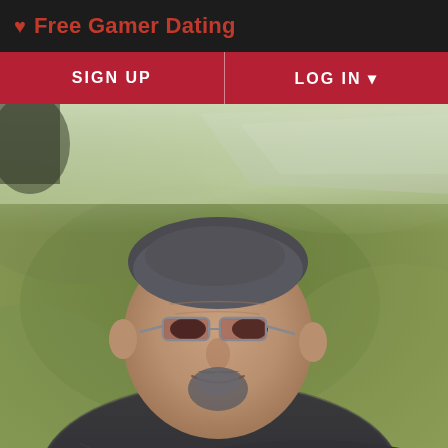♥ Free Gamer Dating
SIGN UP
LOG IN ▾
[Figure (photo): Outdoor selfie of a middle-aged man with glasses, grey hair, and a goatee, wearing a dark striped shirt. Background shows a grassy area with a misty road visible in the upper right. The photo is taken from a high angle looking down at the subject.]